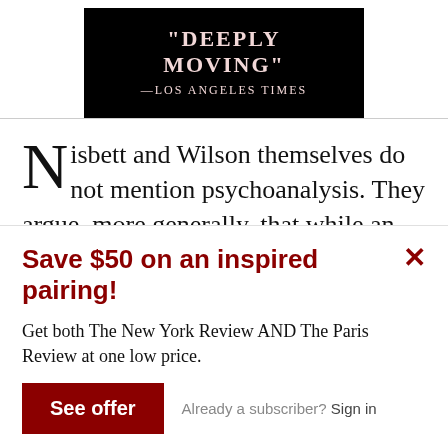[Figure (other): Black banner advertisement with quote text: "DEEPLY MOVING" —LOS ANGELES TIMES in light pink/rose lettering on black background]
Nisbett and Wilson themselves do not mention psychoanalysis. They argue, more generally, that while an individual has privileged access to all sorts
Save $50 on an inspired pairing!
Get both The New York Review AND The Paris Review at one low price.
See offer   Already a subscriber?  Sign in